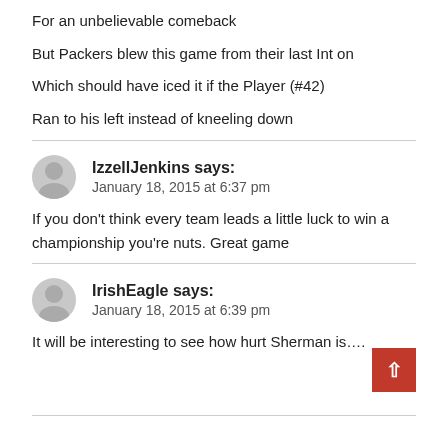For an unbelievable comeback
But Packers blew this game from their last Int on
Which should have iced it if the Player (#42)
Ran to his left instead of kneeling down
IzzellJenkins says:
January 18, 2015 at 6:37 pm
If you don't think every team leads a little luck to win a championship you're nuts. Great game
IrishEagle says:
January 18, 2015 at 6:39 pm
It will be interesting to see how hurt Sherman is….